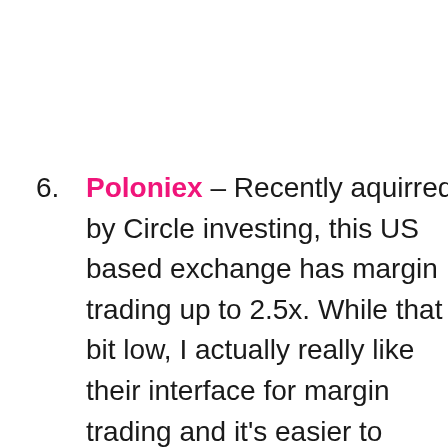6. Poloniex – Recently aquirred by Circle investing, this US based exchange has margin trading up to 2.5x. While that a bit low, I actually really like their interface for margin trading and it's easier to understand than most.